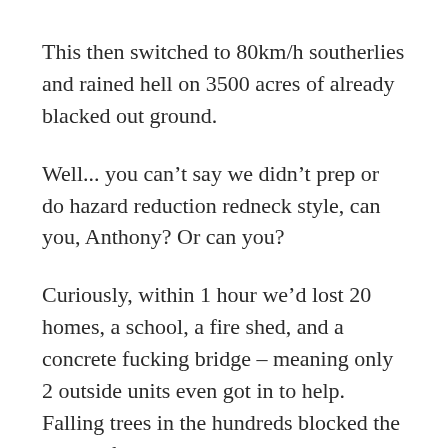This then switched to 80km/h southerlies and rained hell on 3500 acres of already blacked out ground.
Well... you can’t say we didn’t prep or do hazard reduction redneck style, can you, Anthony? Or can you?
Curiously, within 1 hour we’d lost 20 homes, a school, a fire shed, and a concrete fucking bridge – meaning only 2 outside units even got in to help. Falling trees in the hundreds blocked the old Grafton road, so no one could even help neighbours.
By dawn, of 80 homes in our community, 52